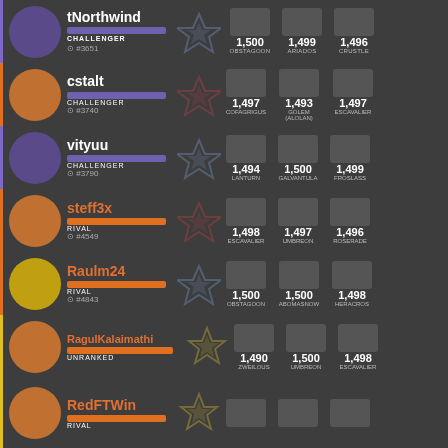tNorthwind - CHALLENGER #3651 - Mystic - Obstagoon 1,500 | Ariados 1,499 | Crustle 1,496
cstalt - CHALLENGER #3740 - Valor - Cofagrigus 1,497 | Golem (Alolan) 1,493 | Escavalier 1,497
vityuu - CHALLENGER #3790 - Mystic - Lanturn 1,494 | Galvantula 1,500 | Froslass 1,499
steff3x - RIVAL #4549 - Valor - Escavalier 1,498 | Umbreon 1,497 | Roserade 1,496
Raulm24 - RIVAL #4843 - Mystic - Obstagoon 1,500 | Abomasnow 1,500 | Heracross 1,498
RagulKalaimathi - UNRANKED - Instinct - Zweilous 1,490 | Umbreon 1,500 | Escavalier 1,498
RedFTWin - RIVAL - Instinct